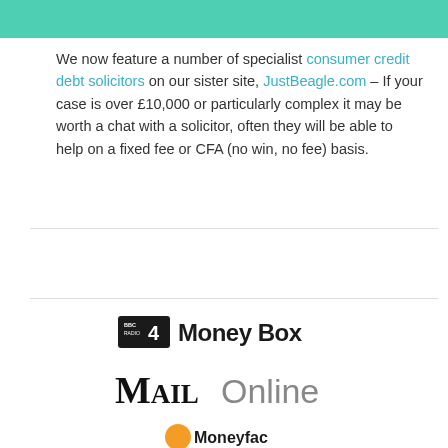[Figure (other): Teal/mint green banner bar at top of page]
We now feature a number of specialist consumer credit debt solicitors on our sister site, JustBeagle.com – If your case is over £10,000 or particularly complex it may be worth a chat with a solicitor, often they will be able to help on a fixed fee or CFA (no win, no fee) basis.
[Figure (logo): BBC Radio 4 Money Box logo]
[Figure (logo): MailOnline logo]
[Figure (logo): Partially visible logo at bottom]